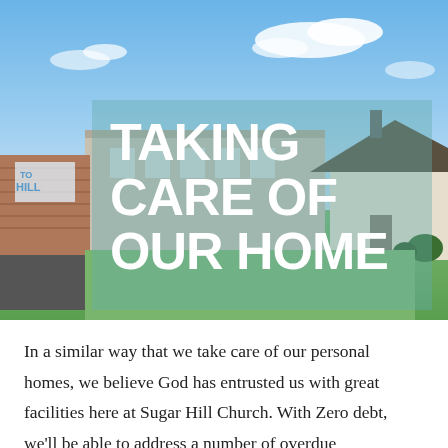[Figure (photo): Exterior photo of Sugar Hill Church building with blue sky and clouds in background. A brick church facility with green lawn, parking lot, and shrubs visible.]
TAKING CARE OF OUR HOME
In a similar way that we take care of our personal homes, we believe God has entrusted us with great facilities here at Sugar Hill Church. With Zero debt, we'll be able to address a number of overdue